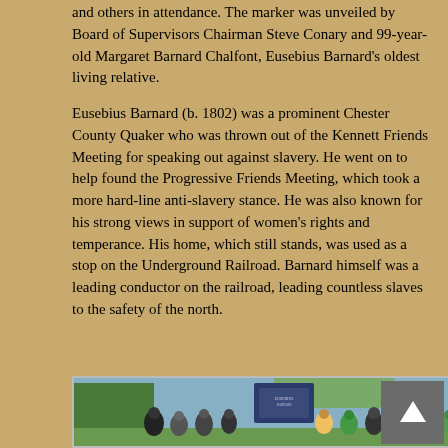and others in attendance. The marker was unveiled by Board of Supervisors Chairman Steve Conary and 99-year-old Margaret Barnard Chalfont, Eusebius Barnard's oldest living relative.
Eusebius Barnard (b. 1802) was a prominent Chester County Quaker who was thrown out of the Kennett Friends Meeting for speaking out against slavery. He went on to help found the Progressive Friends Meeting, which took a more hard-line anti-slavery stance. He was also known for his strong views in support of women's rights and temperance. His home, which still stands, was used as a stop on the Underground Railroad. Barnard himself was a leading conductor on the railroad, leading countless slaves to the safety of the north.
[Figure (photo): Group photo of people standing in front of a historical marker for Eusebius Barnard, outdoors with trees in the background.]
The